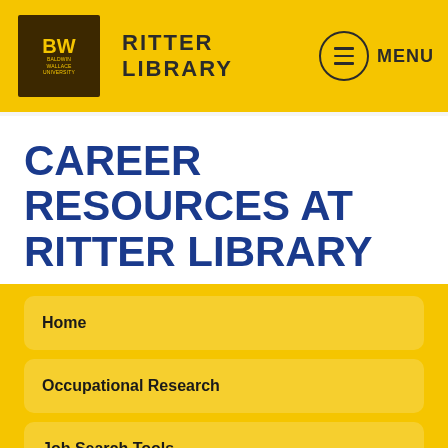RITTER LIBRARY
CAREER RESOURCES AT RITTER LIBRARY
Home
Occupational Research
Job Search Tools